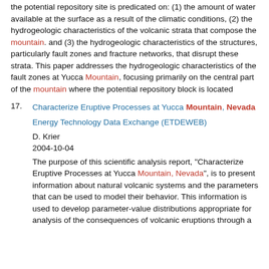the potential repository site is predicated on: (1) the amount of water available at the surface as a result of the climatic conditions, (2) the hydrogeologic characteristics of the volcanic strata that compose the mountain. and (3) the hydrogeologic characteristics of the structures, particularly fault zones and fracture networks, that disrupt these strata. This paper addresses the hydrogeologic characteristics of the fault zones at Yucca Mountain, focusing primarily on the central part of the mountain where the potential repository block is located
17. Characterize Eruptive Processes at Yucca Mountain, Nevada — Energy Technology Data Exchange (ETDEWEB)
D. Krier
2004-10-04
The purpose of this scientific analysis report, "Characterize Eruptive Processes at Yucca Mountain, Nevada", is to present information about natural volcanic systems and the parameters that can be used to model their behavior. This information is used to develop parameter-value distributions appropriate for analysis of the consequences of volcanic eruptions through a